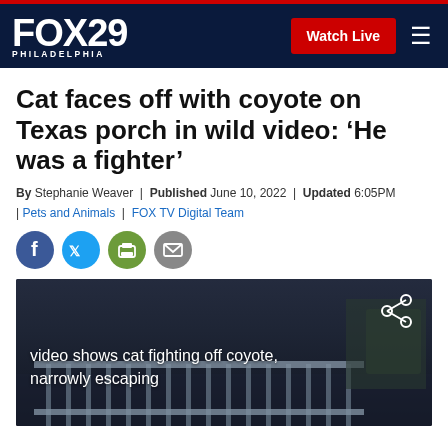FOX 29 PHILADELPHIA | Watch Live
Cat faces off with coyote on Texas porch in wild video: ‘He was a fighter’
By Stephanie Weaver | Published June 10, 2022 | Updated 6:05PM | Pets and Animals | FOX TV Digital Team
[Figure (screenshot): Social sharing icons: Facebook (blue circle), Twitter (light blue circle), Print (green circle), Email (grey circle)]
[Figure (screenshot): Night-vision security camera video thumbnail showing a porch/deck with railings; overlay text reads 'video shows cat fighting off coyote, narrowly escaping' with a share icon in the top right]